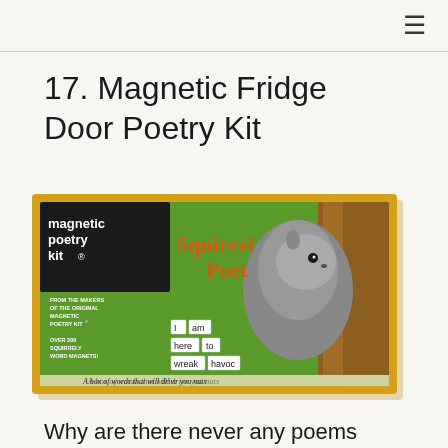≡
17. Magnetic Fridge Door Poetry Kit
[Figure (photo): Product photo of a Magnetic Poetry Kit box titled 'Squirrel Poet'. The box has a yellow border, green background with a squirrel image, text reading 'magnetic poetry kit', 'Squirrel Poet', 'FROM THE MAKERS OF THE ORIGINAL MAGNETIC POETRY KIT', 'OVER 200 SQUIRRELY WORD MAGNETS', magnetic word tiles reading 'I am here to wreak havoc', and tagline 'A box of words that will drive you nuts'.]
Why are there never any poems